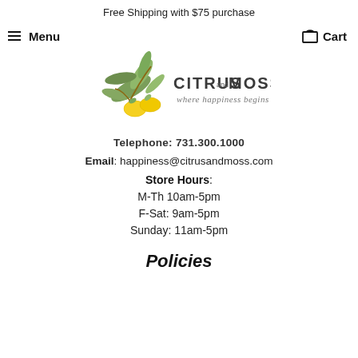Free Shipping with $75 purchase
Menu  Cart
[Figure (logo): Citrus and Moss logo with lemons and leaves illustration, text reads CITRUS and MOSS where happiness begins]
Telephone: 731.300.1000
Email: happiness@citrusandmoss.com
Store Hours: M-Th 10am-5pm F-Sat: 9am-5pm Sunday: 11am-5pm
Policies